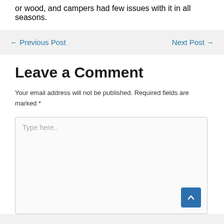or wood, and campers had few issues with it in all seasons.
← Previous Post
Next Post →
Leave a Comment
Your email address will not be published. Required fields are marked *
Type here..